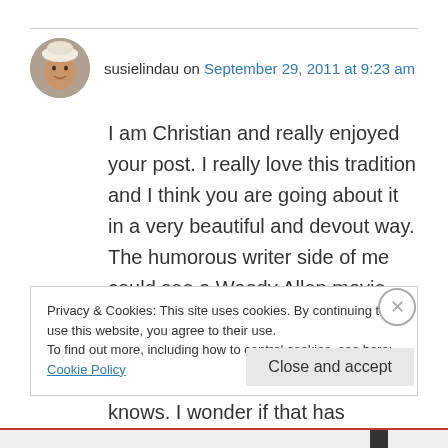[Figure (photo): Circular avatar photo of a woman wearing a white hat, smiling]
susielindau on September 29, 2011 at 9:23 am
I am Christian and really enjoyed your post. I really love this tradition and I think you are going about it in a very beautiful and devout way. The humorous writer side of me could see a Woody Allen movie where he admits to having an affair with his friend's wife assuming his friend already knows. I wonder if that has happened when a friend admits wrong-doing when the
Privacy & Cookies: This site uses cookies. By continuing to use this website, you agree to their use.
To find out more, including how to control cookies, see here: Cookie Policy
Close and accept